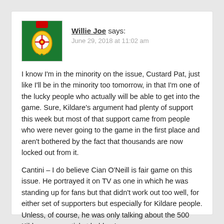[Figure (photo): Avatar photo: green Gaelic football jersey with a county crest badge]
Willie Joe says:
June 29, 2018 at 11:02 am
I know I'm in the minority on the issue, Custard Pat, just like I'll be in the minority too tomorrow, in that I'm one of the lucky people who actually will be able to get into the game. Sure, Kildare's argument had plenty of support this week but most of that support came from people who were never going to the game in the first place and aren't bothered by the fact that thousands are now locked out from it.
Cantini – I do believe Cian O'Neill is fair game on this issue. He portrayed it on TV as one in which he was standing up for fans but that didn't work out too well, for either set of supporters but especially for Kildare people. Unless, of course, he was only talking about the 500 Kildare season ticket holders!